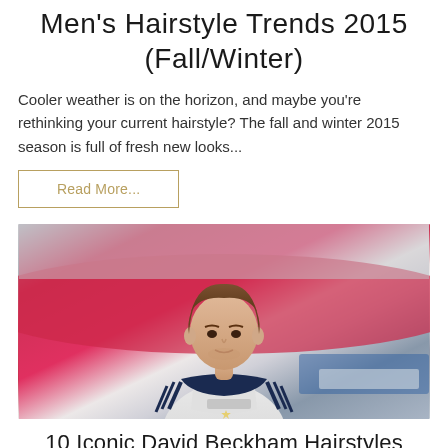Men's Hairstyle Trends 2015 (Fall/Winter)
Cooler weather is on the horizon, and maybe you're rethinking your current hairstyle? The fall and winter 2015 season is full of fresh new looks...
Read More...
[Figure (photo): Photo of a man in a white LA Galaxy Adidas soccer jersey, standing in front of a red and blue blurred background, with medium-length brown hair styled back.]
10 Iconic David Beckham Hairstyles